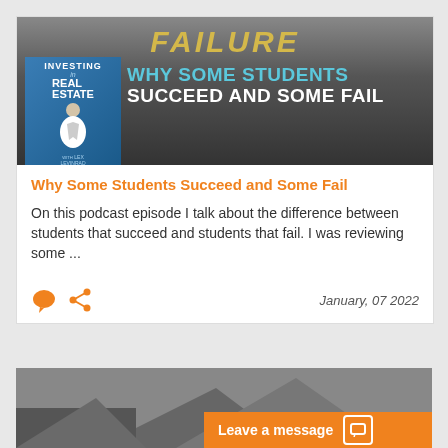[Figure (photo): Podcast banner image with 'FAILURE' text in gold italic, subtitle 'WHY SOME STUDENTS SUCCEED AND SOME FAIL' in blue and white bold text, and an 'Investing in Real Estate with Lex Levinrad' logo on the left with a man in a suit against a dark background.]
Why Some Students Succeed and Some Fail
On this podcast episode I talk about the difference between students that succeed and students that fail. I was reviewing some ...
January, 07 2022
[Figure (photo): Partial view of a second article card showing a dark/grey image at the bottom of the page, with an orange 'Leave a message' chat bar at the bottom right.]